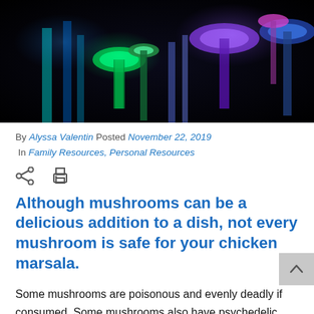[Figure (photo): Colorful glowing mushrooms in blue, green, and purple tones on a dark background]
By Alyssa Valentin  Posted November 22, 2019
 In Family Resources, Personal Resources
[Figure (other): Share icon and print icon]
Although mushrooms can be a delicious addition to a dish, not every mushroom is safe for your chicken marsala.
Some mushrooms are poisonous and evenly deadly if consumed. Some mushrooms also have psychedelic effects and are consumed with the intention of getting